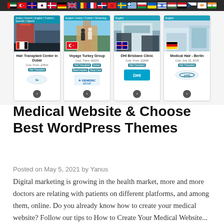[Figure (screenshot): Flag banner with multiple country flags on dark background, followed by a row of four medical clinic cards: Hair Transplant Center in Dubai, Voyage Turkey Group, DHI Brisbane Clinic, Medical Hair - Berlin]
Medical Website & Choose Best WordPress Themes
Posted on May 5, 2021 by Yanus
Digital marketing is growing in the health market, more and more doctors are relating with patients on different platforms, and among them, online. Do you already know how to create your medical website? Follow our tips to How to Create Your Medical Website...